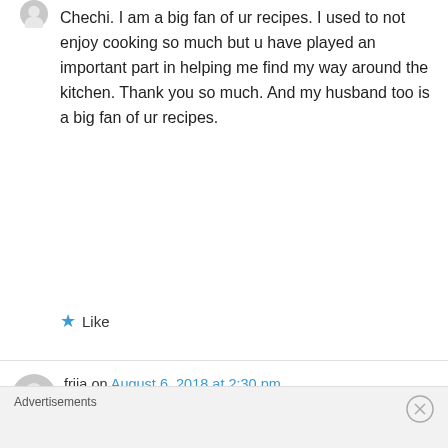Chechi. I am a big fan of ur recipes. I used to not enjoy cooking so much but u have played an important part in helping me find my way around the kitchen. Thank you so much. And my husband too is a big fan of ur recipes.
★ Like
frija on August 6, 2018 at 2:30 pm
Hi chechi..All of ur recipes are excellent. If I have any doubt in preparation , I always referring ur way of cooking.Because I also from Thrissur ,
Advertisements